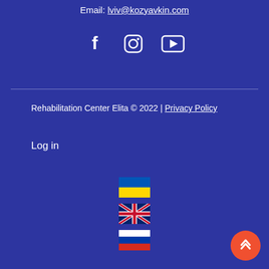Email: lviv@kozyavkin.com
[Figure (other): Social media icons: Facebook, Instagram, YouTube]
Rehabilitation Center Elita © 2022 | Privacy Policy
Log in
[Figure (other): Language selector flags: Ukrainian flag, UK flag, Russian flag]
[Figure (other): Scroll to top button (orange circle with up arrows)]